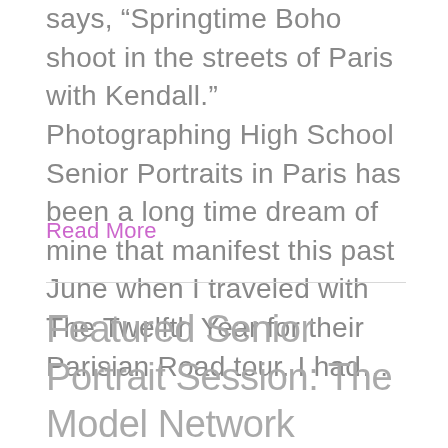says, “Springtime Boho shoot in the streets of Paris with Kendall.” Photographing High School Senior Portraits in Paris has been a long time dream of mine that manifest this past June when I traveled with The Twelfth Year for their Parisian Road tour. I had…
Read More
Featured Senior Portrait Session: The Model Network National Vogue Hollywood